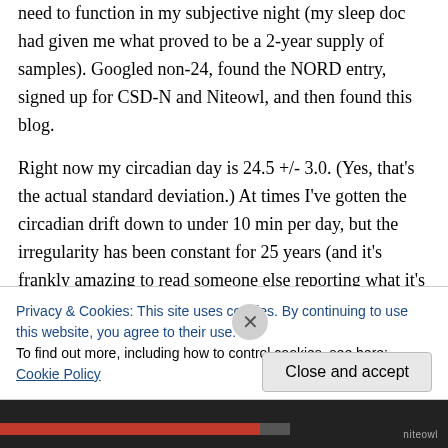need to function in my subjective night (my sleep doc had given me what proved to be a 2-year supply of samples). Googled non-24, found the NORD entry, signed up for CSD-N and Niteowl, and then found this blog.
Right now my circadian day is 24.5 +/- 3.0. (Yes, that's the actual standard deviation.) At times I've gotten the circadian drift down to under 10 min per day, but the irregularity has been constant for 25 years (and it's frankly amazing to read someone else reporting what it's like to live
Privacy & Cookies: This site uses cookies. By continuing to use this website, you agree to their use.
To find out more, including how to control cookies, see here: Cookie Policy
Close and accept